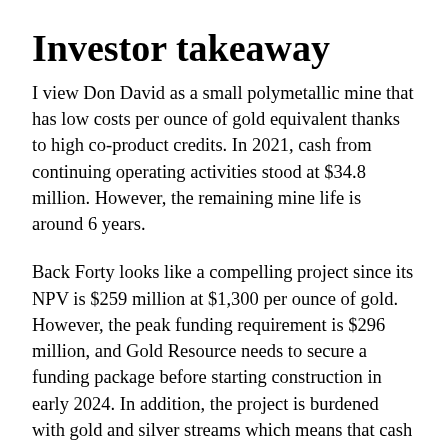Investor takeaway
I view Don David as a small polymetallic mine that has low costs per ounce of gold equivalent thanks to high co-product credits. In 2021, cash from continuing operating activities stood at $34.8 million. However, the remaining mine life is around 6 years.
Back Forty looks like a compelling project since its NPV is $259 million at $1,300 per ounce of gold. However, the peak funding requirement is $296 million, and Gold Resource needs to secure a funding package before starting construction in early 2024. In addition, the project is burdened with gold and silver streams which means that cash flows will be limited in the first two years of